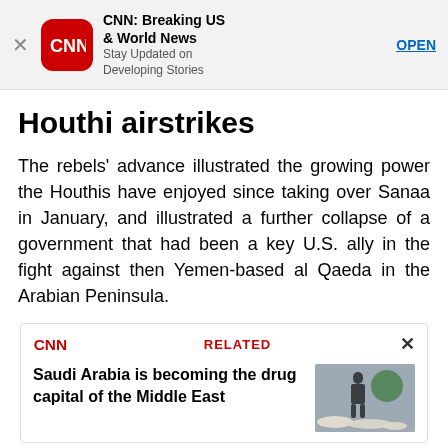[Figure (screenshot): App store banner for CNN: Breaking US & World News app with red CNN logo icon, app title, subtitle 'Stay Updated on Developing Stories', and OPEN button]
Houthi airstrikes
The rebels' advance illustrated the growing power the Houthis have enjoyed since taking over Sanaa in January, and illustrated a further collapse of a government that had been a key U.S. ally in the fight against then Yemen-based al Qaeda in the Arabian Peninsula.
[Figure (screenshot): CNN Related article box: 'Saudi Arabia is becoming the drug capital of the Middle East' with a photo of pills/drugs on the right]